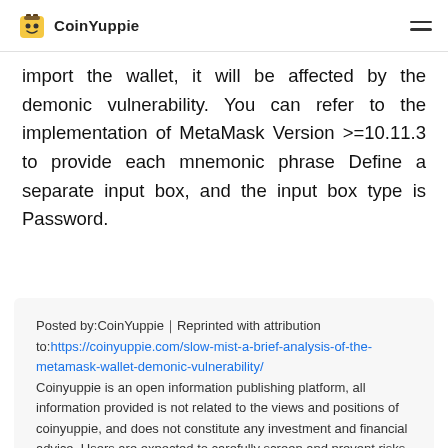CoinYuppie
import the wallet, it will be affected by the demonic vulnerability. You can refer to the implementation of MetaMask Version >=10.11.3 to provide each mnemonic phrase Define a separate input box, and the input box type is Password.
Posted by:CoinYuppie｜Reprinted with attribution to:https://coinyuppie.com/slow-mist-a-brief-analysis-of-the-metamask-wallet-demonic-vulnerability/ Coinyuppie is an open information publishing platform, all information provided is not related to the views and positions of coinyuppie, and does not constitute any investment and financial advice. Users are expected to carefully screen and prevent risks.